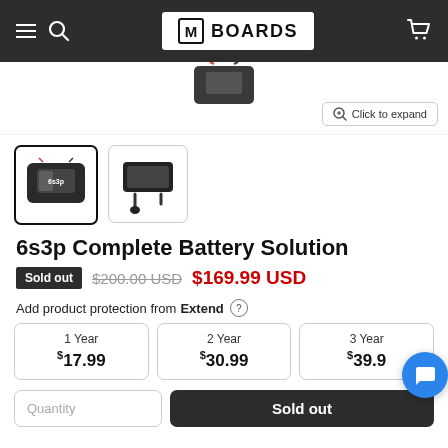M BOARDS
[Figure (photo): Product image area showing top of battery product, with 'Click to expand' button]
[Figure (photo): Two product thumbnail images: selected thumbnail of 6s3p battery pack, and second thumbnail of charger/cable]
6s3p Complete Battery Solution
Sold out  $200.00 USD  $169.99 USD
Add product protection from Extend
| 1 Year | 2 Year | 3 Year |
| --- | --- | --- |
| $17.99 | $30.99 | $39.9... |
Quantity  Sold out